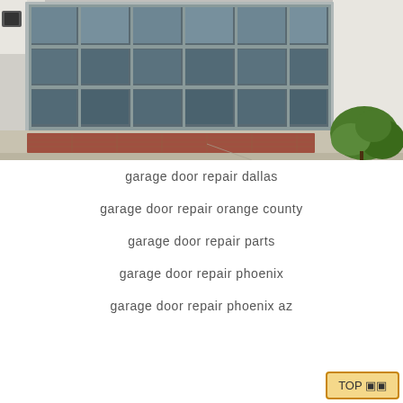[Figure (photo): Photograph of a modern garage with a large glass panel sectional door, concrete driveway with red/brick patterned inlay, white stucco walls, and green shrubs on the right side.]
garage door repair dallas
garage door repair orange county
garage door repair parts
garage door repair phoenix
garage door repair phoenix az
TOP ▣▣